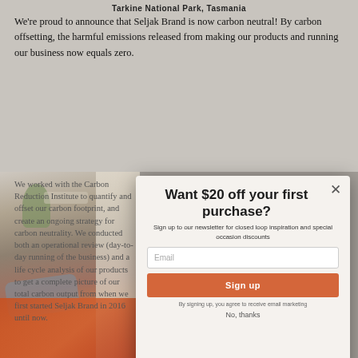Tarkine National Park, Tasmania
We're proud to announce that Seljak Brand is now carbon neutral! By carbon offsetting, the harmful emissions released from making our products and running our business now equals zero.
We worked with the Carbon Reduction Institute to quantify and offset our carbon footprint, and create an ongoing strategy for carbon neutrality. We conducted both an operational review (day-to-day running of the business) and a life cycle analysis of our products to get a complete picture of our total carbon output from when we first started Seljak Brand in 2016 until now.
[Figure (photo): Photo of a bedroom scene with orange bedding and blue/grey blanket, with curtains and a plant visible]
[Figure (screenshot): Modal popup overlay: 'Want $20 off your first purchase?' with email signup form, Sign up button, and No thanks link]
Last financial year we emitted 7.12 tonnes of CO2e (tCO2e) from an operational perspective and 3.44 tCO2e based on blankets manufactured and sold.
How does recycled wool compare to new wool?
Using recycled materials in the creation of new products does indeed make a big difference to carbon footprint. Because we